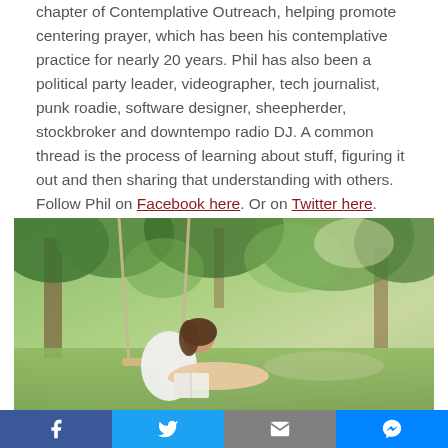chapter of Contemplative Outreach, helping promote centering prayer, which has been his contemplative practice for nearly 20 years. Phil has also been a political party leader, videographer, tech journalist, punk roadie, software designer, sheepherder, stockbroker and downtempo radio DJ. A common thread is the process of learning about stuff, figuring it out and then sharing that understanding with others. Follow Phil on Facebook here. Or on Twitter here. philfoxrose.com.
[Figure (photo): A young woman in a white dress sitting on a swing outdoors, reading a book, surrounded by trees and green grass in warm sunlight.]
Social share bar with Facebook, Twitter, Email, and Messenger buttons